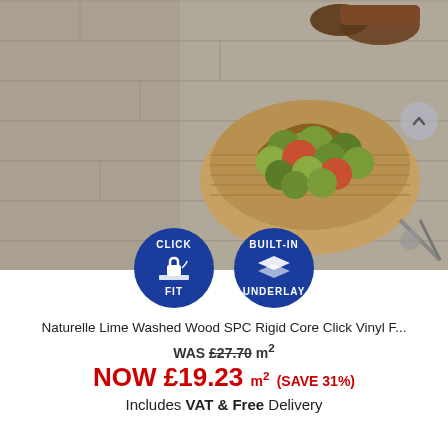[Figure (photo): Overhead photo of grey wood-effect vinyl flooring with a wicker basket of green apples, boots in background, and garden shears to the right. Two blue circular badges overlaid at bottom center: 'CLICK FIT' with lock icon, and 'BUILT-IN UNDERLAY' with layers icon.]
Naturelle Lime Washed Wood SPC Rigid Core Click Vinyl F...
WAS £27.70 m²
NOW £19.23 m² (SAVE 31%)
Includes VAT & Free Delivery